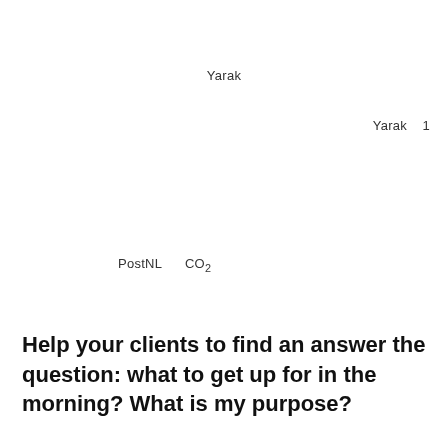Yarak
Yarak   1
PostNL      CO2
Help your clients to find an answer the question: what to get up for in the morning? What is my purpose?